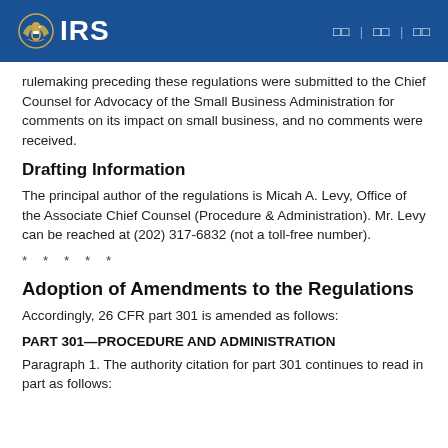IRS
rulemaking preceding these regulations were submitted to the Chief Counsel for Advocacy of the Small Business Administration for comments on its impact on small business, and no comments were received.
Drafting Information
The principal author of the regulations is Micah A. Levy, Office of the Associate Chief Counsel (Procedure & Administration). Mr. Levy can be reached at (202) 317-6832 (not a toll-free number).
* * * * *
Adoption of Amendments to the Regulations
Accordingly, 26 CFR part 301 is amended as follows:
PART 301—PROCEDURE AND ADMINISTRATION
Paragraph 1. The authority citation for part 301 continues to read in part as follows: